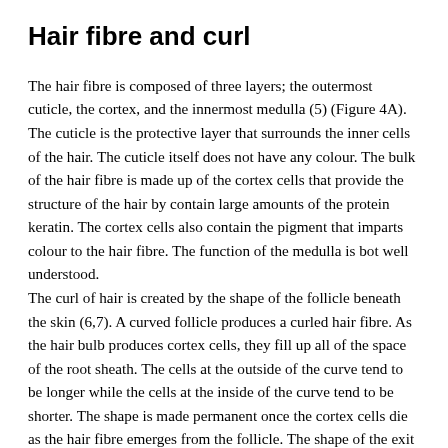Hair fibre and curl
The hair fibre is composed of three layers; the outermost cuticle, the cortex, and the innermost medulla (5) (Figure 4A). The cuticle is the protective layer that surrounds the inner cells of the hair. The cuticle itself does not have any colour. The bulk of the hair fibre is made up of the cortex cells that provide the structure of the hair by contain large amounts of the protein keratin. The cortex cells also contain the pigment that imparts colour to the hair fibre. The function of the medulla is bot well understood.
The curl of hair is created by the shape of the follicle beneath the skin (6,7). A curved follicle produces a curled hair fibre. As the hair bulb produces cortex cells, they fill up all of the space of the root sheath. The cells at the outside of the curve tend to be longer while the cells at the inside of the curve tend to be shorter. The shape is made permanent once the cortex cells die as the hair fibre emerges from the follicle. The shape of the exit